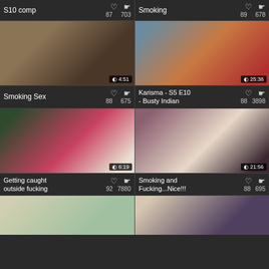S10 comp
♡ 87  👁 703
Smoking
♡ 89  👁 678
[Figure (photo): Video thumbnail 4:51]
[Figure (photo): Video thumbnail 25:38]
Smoking Sex
♡ 88  👁 675
Karisma - S5 E10 - Busty Indian
♡ 88  👁 3898
[Figure (photo): Video thumbnail 6:19]
[Figure (photo): Video thumbnail 21:56]
Getting caught outside fucking
♡ 92  👁 7880
Smoking and Fucking...Nice!!!
♡ 88  👁 695
[Figure (photo): Partial video thumbnail bottom row left]
[Figure (photo): Partial video thumbnail bottom row right]